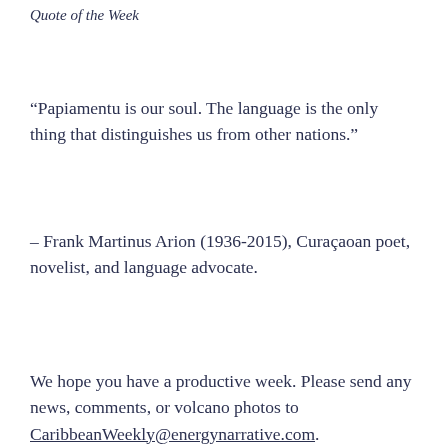Quote of the Week
“Papiamentu is our soul. The language is the only thing that distinguishes us from other nations.”
– Frank Martinus Arion (1936-2015), Curaçaoan poet, novelist, and language advocate.
We hope you have a productive week. Please send any news, comments, or volcano photos to CaribbeanWeekly@energynarrative.com.